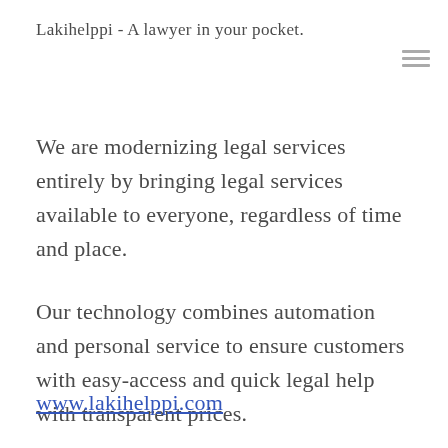Lakihelppi - A lawyer in your pocket.
We are modernizing legal services entirely by bringing legal services available to everyone, regardless of time and place.
Our technology combines automation and personal service to ensure customers with easy-access and quick legal help with transparent prices.
www.lakihelppi.com